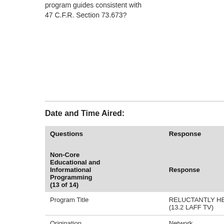program guides consistent with 47 C.F.R. Section 73.673?
Date and Time Aired:
| Questions | Response |
| --- | --- |
| Non-Core Educational and Informational Programming (13 of 14) | Response |
| Program Title | RELUCTANTLY HEALTHY (13.2 LAFF TV) |
| Origination | Network |
| Days/Times | SATURDAY 10:00-10:30 |